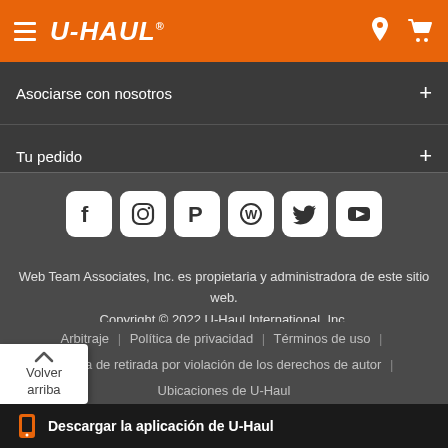U-HAUL® navigation header with hamburger menu, logo, location pin and cart icons
Asociarse con nosotros
Tu pedido
[Figure (illustration): Row of social media icons: Facebook, Instagram, Pinterest, WordPress, Twitter, YouTube]
Web Team Associates, Inc. es propietaria y administradora de este sitio web. Copyright © 2022 U-Haul International, Inc. Todos los derechos reservados.
Arbitraje | Política de privacidad | Términos de uso | Política de retirada por violación de los derechos de autor | Ubicaciones de U-Haul
uhaul.com (TODO) YAML - 08.24.2022 a las 15.14 - desde 1.411.0b
Descargar la aplicación de U-Haul